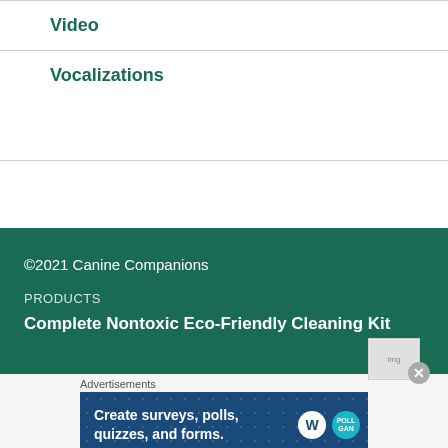Video
Vocalizations
©2021 Canine Companions
PRODUCTS
Complete Nontoxic Eco-Friendly Cleaning Kit
Advertisements
[Figure (screenshot): Advertisement banner: 'Create surveys, polls, quizzes, and forms.' with WordPress and poll badge icons on dark blue background with dot pattern]